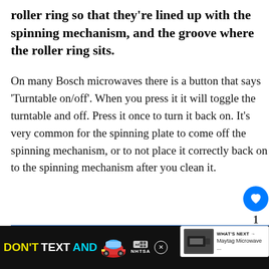roller ring so that they're lined up with the spinning mechanism, and the groove where the roller ring sits.
On many Bosch microwaves there is a button that says 'Turntable on/off'. When you press it it will toggle the turntable and off. Press it once to turn it back on. It's very common for the spinning plate to come off the spinning mechanism, or to not place it correctly back on to the spinning mechanism after you clean it.
[Figure (screenshot): Blue banner ad with text 'You seem down lately.' and a WHAT'S NEXT panel showing a Maytag Microwave thumbnail]
[Figure (infographic): Bottom black ad bar: DON'T TEXT AND [car emoji] with NHTSA logo and close button]